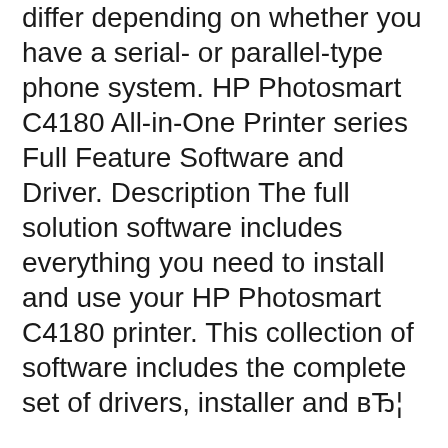differ depending on whether you have a serial- or parallel-type phone system. HP Photosmart C4180 All-in-One Printer series Full Feature Software and Driver. Description The full solution software includes everything you need to install and use your HP Photosmart C4180 printer. This collection of software includes the complete set of drivers, installer and вЂ¦
Get HP HP Photosmart C4180 All-in-One Printer Basics Guide. Get all HP manuals! ManualShelf. Sign Up. Sign up to create an account Facebook Twitter. or. By clicking Create Account, you вЂ¦ 1 HP Photosmart C4200 All-in-One series Help Use the HP Photosmart